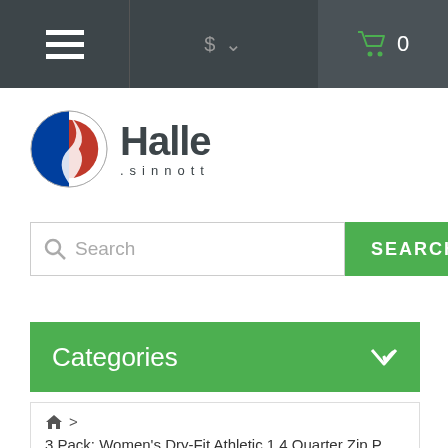Navigation bar with hamburger menu, currency selector ($), and cart (0)
[Figure (logo): Halle Sinnott logo with circular blue/red/white emblem and text 'Halle .sinnott']
Search
Categories
🏠 > 3 Pack: Women's Dry-Fit Athletic 1 4 Quarter Zip Pullover Running Yoga W
[Figure (photo): Three product images showing women wearing athletic wear]